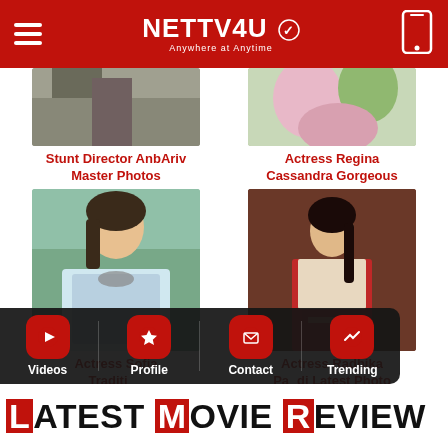NETTV4U — Anywhere at Anytime
Stunt Director AnbAriv Master Photos
Actress Regina Cassandra Gorgeous
[Figure (photo): Photo of a woman in a floral saree (Actress Sofia) in traditional attire]
Actress Sofia Traditional New
[Figure (photo): Photo of a woman in red and cream lehenga (Actress Radhika Pandit)]
Actress Radhika Pandit Latest Photo
Videos | Profile | Contact | Trending
LATEST MOVIE REVIEW